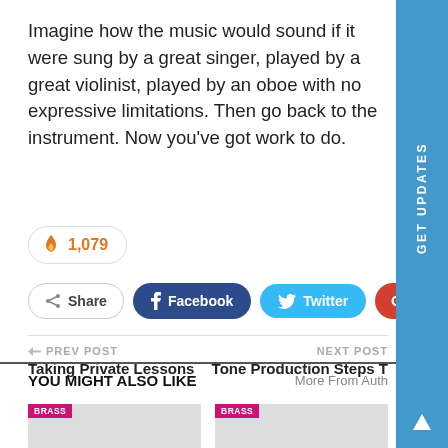Imagine how the music would sound if it were sung by a great singer, played by a great violinist, played by an oboe with no expressive limitations. Then go back to the instrument. Now you’ve got work to do.
[Figure (infographic): Fire icon badge showing count 1,079 likes/upvotes]
[Figure (infographic): Social share buttons row: Share, Facebook, Twitter, Google+, plus button]
PREV POST
Taking Private Lessons
NEXT POST
Tone Production Steps T
YOU MIGHT ALSO LIKE
More From Auth
[Figure (infographic): BRASS tagged thumbnail card]
[Figure (infographic): BRASS tagged thumbnail card]
GET UPDATES